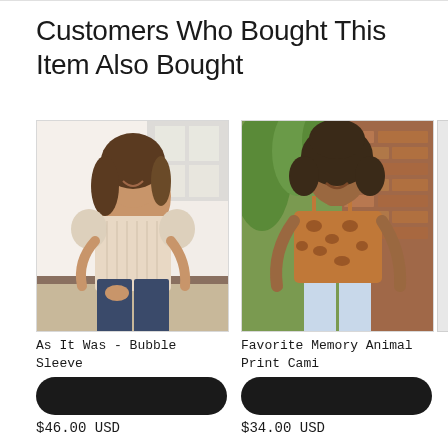Customers Who Bought This Item Also Bought
[Figure (photo): Woman in a beige bubble sleeve top with jeans, smiling, photographed indoors]
As It Was - Bubble Sleeve
[Figure (other): Black rounded rectangle add to cart button]
$46.00 USD
[Figure (photo): Woman wearing a leopard print cami with light jeans, smiling outdoors with greenery in background]
Favorite Memory Animal Print Cami
[Figure (other): Black rounded rectangle add to cart button]
$34.00 USD